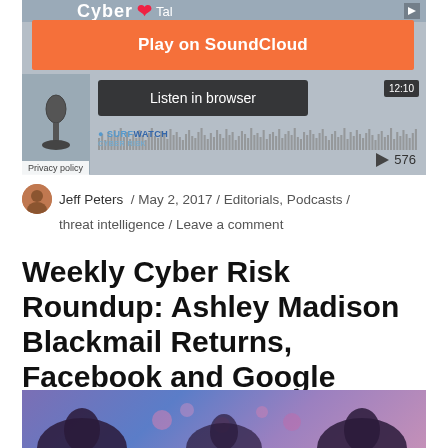[Figure (screenshot): SoundCloud embedded audio player widget showing 'Play on SoundCloud' orange button, 'Listen in browser' button, waveform, time 12:10, play count 576, SurfWatch logo, Privacy policy link]
Jeff Peters / May 2, 2017 / Editorials, Podcasts / threat intelligence / Leave a comment
Weekly Cyber Risk Roundup: Ashley Madison Blackmail Returns, Facebook and Google Victims of Fraud
[Figure (photo): Partial image at bottom showing silhouettes against a purple/blue gradient background with hearts]